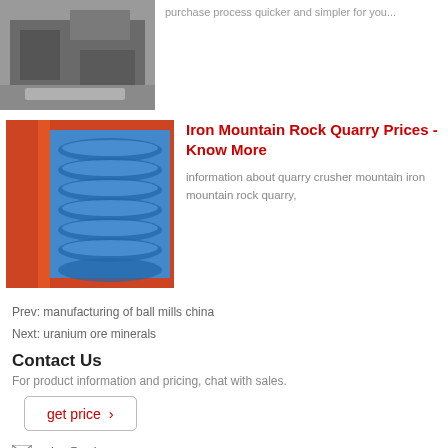[Figure (photo): Industrial machine equipment photo (top left)]
purchase process quicker and simpler for you...
[Figure (photo): Blue spiral/coil industrial parts stacked in warehouse]
Iron Mountain Rock Quarry Prices - Know More
information about quarry crusher mountain iron mountain rock quarry,
Prev: manufacturing of ball mills china
Next: uranium ore minerals
Contact Us
For product information and pricing, chat with sales.
get price ›
price@pejaw.com
SKY Company © 2022 - 2023 Copyrights. - sitemap